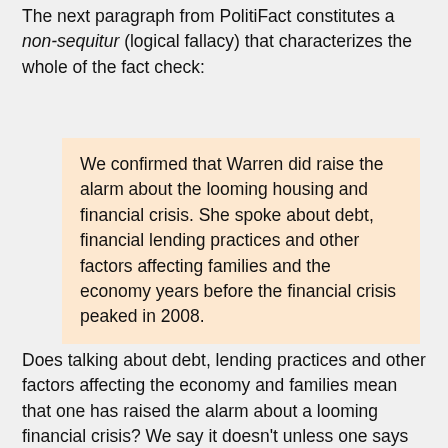The next paragraph from PolitiFact constitutes a non-sequitur (logical fallacy) that characterizes the whole of the fact check:
We confirmed that Warren did raise the alarm about the looming housing and financial crisis. She spoke about debt, financial lending practices and other factors affecting families and the economy years before the financial crisis peaked in 2008.
Does talking about debt, lending practices and other factors affecting the economy and families mean that one has raised the alarm about a looming financial crisis? We say it doesn't unless one says something specific about a looming financial crisis that suitably matches the one we had in 2008.
This cupboard is bare.
We'll hunt through every quotation PolitiFact used and survey every article PolitiFact linked in support of Warren. We cannot quote these sources exhaustively because of copyright issues. But we'll give you samples from each the...